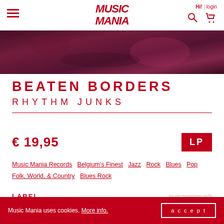Music Mania — Hi! login — navigation
[Figure (photo): Album cover strip showing dark reddish-purple textured surface, cropped horizontally.]
BEATEN BORDERS
RHYTHM JUNKS
€ 19,95   LP
Music Mania Records  Belgium's Finest  Jazz  Rock  Blues  Pop  Folk, World, & Country  Blues Rock
LABEL   musicmaniarecords
Music Mania uses cookies. More info.   accept